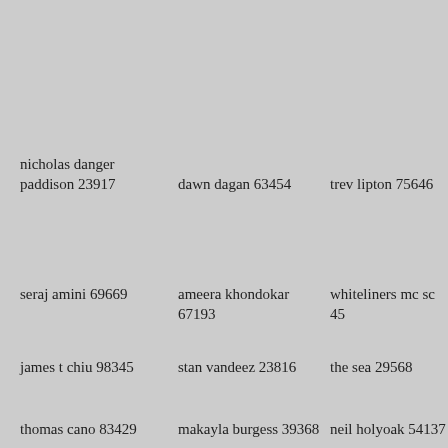nicholas danger paddison 23917
dawn dagan 63454
trev lipton 75646
seraj amini 69669
ameera khondokar 67193
whiteliners mc sc 45
james t chiu 98345
stan vandeez 23816
the sea 29568
thomas cano 83429
makayla burgess 39368
neil holyoak 54137